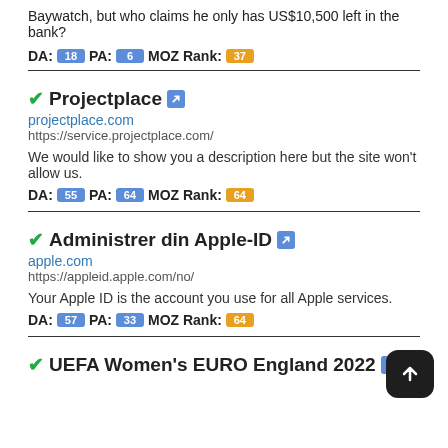Baywatch, but who claims he only has US$10,500 left in the bank?
DA: 18 PA: 6 MOZ Rank: 37
✓Projectplace 🔗
projectplace.com
https://service.projectplace.com/
We would like to show you a description here but the site won't allow us.
DA: 55 PA: 64 MOZ Rank: 64
✓Administrer din Apple-ID 🔗
apple.com
https://appleid.apple.com/no/
Your Apple ID is the account you use for all Apple services.
DA: 57 PA: 33 MOZ Rank: 64
✓UEFA Women's EURO England 2022 🔗